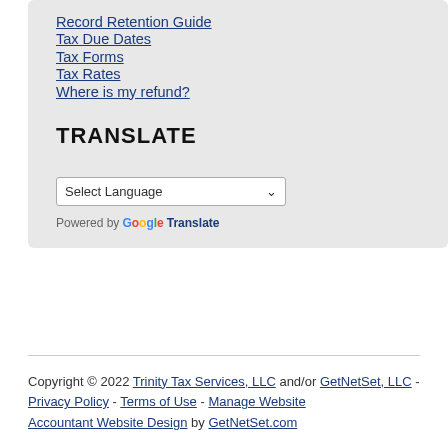Record Retention Guide
Tax Due Dates
Tax Forms
Tax Rates
Where is my refund?
TRANSLATE
Select Language (dropdown)
Powered by Google Translate
Copyright © 2022 Trinity Tax Services, LLC and/or GetNetSet, LLC - Privacy Policy - Terms of Use - Manage Website Accountant Website Design by GetNetSet.com